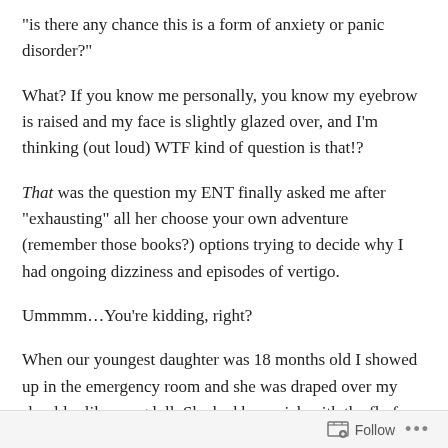“is there any chance this is a form of anxiety or panic disorder?”
What? If you know me personally, you know my eyebrow is raised and my face is slightly glazed over, and I’m thinking (out loud) WTF kind of question is that!?
That was the question my ENT finally asked me after “exhausting” all her choose your own adventure (remember those books?) options trying to decide why I had ongoing dizziness and episodes of vertigo.
Ummmm…You’re kidding, right?
When our youngest daughter was 18 months old I showed up in the emergency room and she was draped over my shoulder like a ragdoll. She had been sick with the flu for several days and was severely dehydrated (like I couldn’t keep her awake dehydration). I had been on the phone
Follow •••